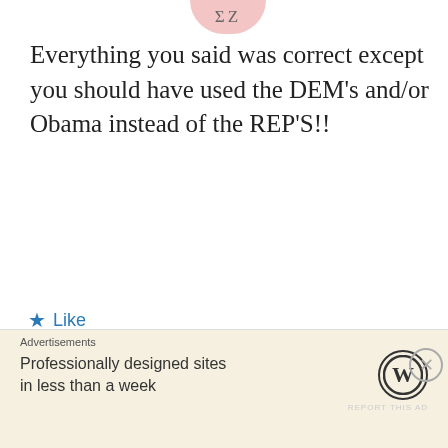[Figure (illustration): Partial circular avatar image at top center, pink/light red background with dark number/letter characters visible]
Everything you said was correct except you should have used the DEM’s and/or Obama instead of the REP’S!!
★ Like
REPLY
Advertisements
ThePlatform Where WordPress Works Best
P Pressable
REPORT THIS AD
[Figure (illustration): Sam user avatar: cartoon character with teal/blue colors on pink background]
Sam
Advertisements
Professionally designed sites in less than a week
[Figure (logo): WordPress logo - W in circle]
REPORT THIS AD